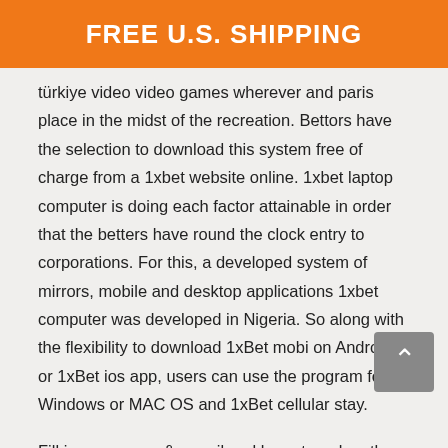FREE U.S. SHIPPING
türkiye video video games wherever and paris place in the midst of the recreation. Bettors have the selection to download this system free of charge from a 1xbet website online. 1xbet laptop computer is doing each factor attainable in order that the betters have round the clock entry to corporations. For this, a developed system of mirrors, mobile and desktop applications 1xbet computer was developed in Nigeria. So along with the flexibility to download 1xBet mobi on Android or 1xBet ios app, users can use the program for Windows or MAC OS and 1xBet cellular stay.
Fill in your name & e-mail and keep tuned on the latest provides and the mannequin new bookmakers in your nation. Here you'll find a way to see the complete itemizing of betting web sites that take Indian players. The first step is to register an account collectively along along along with your favourite bookie. This is especially helpful, as purchasers Abuja and completely totally